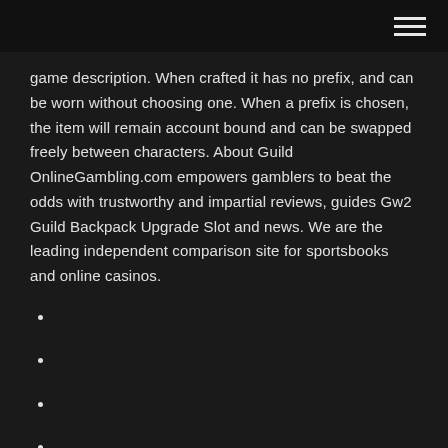[hamburger menu icon]
game description. When crafted it has no prefix, and can be worn without choosing one. When a prefix is chosen, the item will remain account bound and can be swapped freely between characters. About Guild OnlineGambling.com empowers gamblers to beat the odds with trustworthy and impartial reviews, guides Gw2 Guild Backpack Upgrade Slot and news. We are the leading independent comparison site for sportsbooks and online casinos.